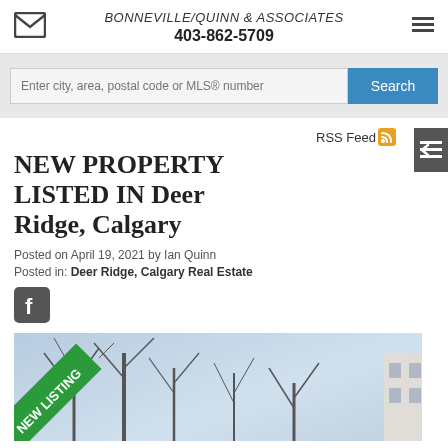BONNEVILLE/QUINN & ASSOCIATES
403-862-5709
Enter city, area, postal code or MLS® number
RSS Feed
New property listed in Deer Ridge, Calgary
Posted on April 19, 2021 by Ian Quinn
Posted in: Deer Ridge, Calgary Real Estate
[Figure (photo): Property listing photo showing bare trees against a sky, with a green 'NEW LISTING' diagonal banner in the bottom-left corner of the image]